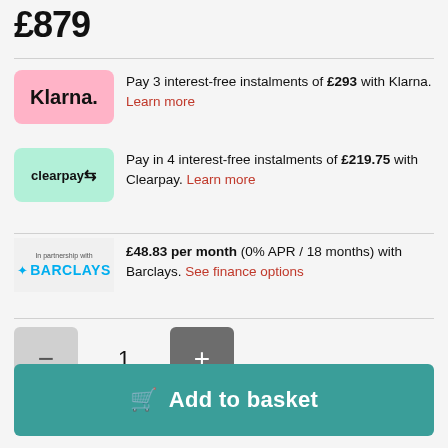£879
Pay 3 interest-free instalments of £293 with Klarna. Learn more
Pay in 4 interest-free instalments of £219.75 with Clearpay. Learn more
£48.83 per month (0% APR / 18 months) with Barclays. See finance options